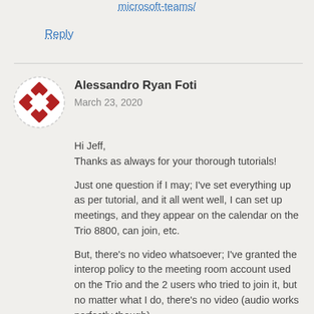microsoft-teams/
Reply
Alessandro Ryan Foti
March 23, 2020

Hi Jeff,
Thanks as always for your thorough tutorials!

Just one question if I may; I've set everything up as per tutorial, and it all went well, I can set up meetings, and they appear on the calendar on the Trio 8800, can join, etc.

But, there's no video whatsoever; I've granted the interop policy to the meeting room account used on the Trio and the 2 users who tried to join it, but no matter what I do, there's no video (audio works perfectly though).

Anything trick you might have encountered in the past that I might have missed?

Many Thanks!